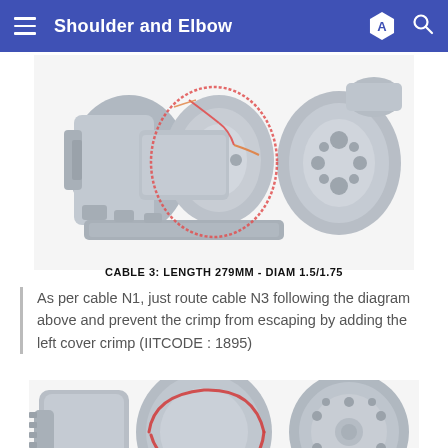Shoulder and Elbow
[Figure (engineering-diagram): 3D CAD rendering of a robotic shoulder and elbow mechanical assembly, showing cable routing path N3 highlighted with red/orange outline encircling multiple cylindrical motor housings and mechanical components. Gray machined parts visible.]
CABLE 3: LENGTH 279MM - DIAM 1.5/1.75
As per cable N1, just route cable N3 following the diagram above and prevent the crimp from escaping by adding the left cover crimp (IITCODE : 1895)
[Figure (engineering-diagram): 3D CAD rendering of a robotic elbow and shoulder joint assembly showing cable routing path highlighted in red/orange on gray machined mechanical parts, partially cropped at bottom of page.]